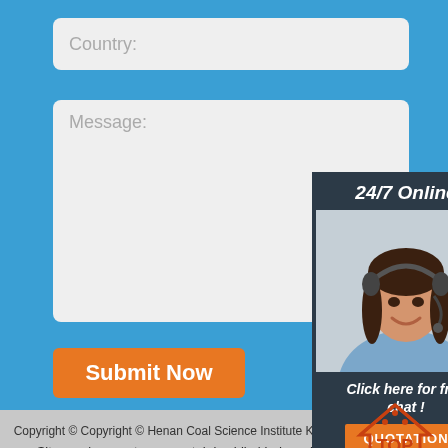Country:
Message:
Submit Now
[Figure (illustration): 24/7 Online chat widget with photo of woman wearing headset. Includes 'Click here for free chat!' text and an orange QUOTATION button.]
Copyright © Copyright © Henan Coal Science Institute Keming Mechanical And Electrical Equipment Co., Ltd.
Sitemap | concrete pump utah in chile | indonesia kennards small excavator | central machinery cement mixer 91907 in israel